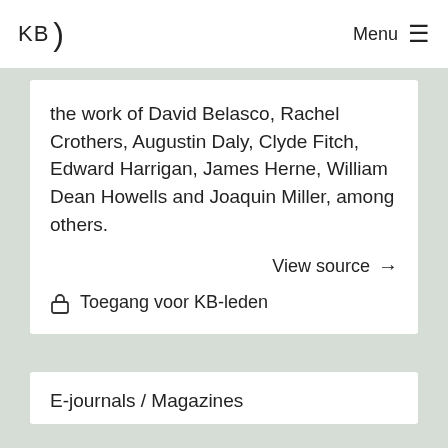KB  Menu ☰
the work of David Belasco, Rachel Crothers, Augustin Daly, Clyde Fitch, Edward Harrigan, James Herne, William Dean Howells and Joaquin Miller, among others.
View source →
🔒 Toegang voor KB-leden
E-journals / Magazines